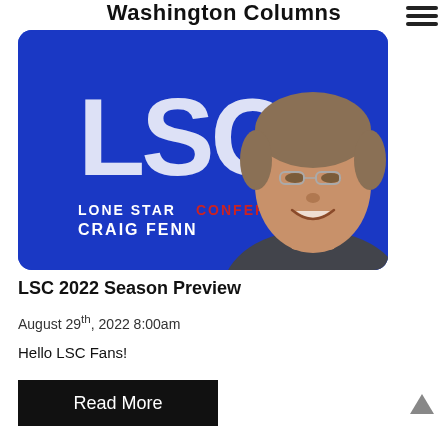Washington Columns
[Figure (photo): A smiling man in a dark shirt in front of a blue background with 'LSC' logo and text reading 'LONE STAR CONFERENCE CRAIG FENN']
LSC 2022 Season Preview
August 29th, 2022 8:00am
Hello LSC Fans!
Read More